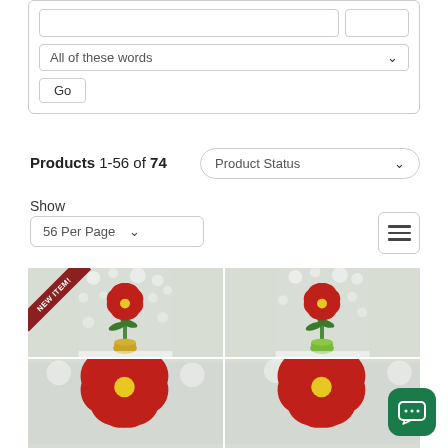[Figure (screenshot): Search filter UI with dropdown 'All of these words' and Go button]
Products 1-56 of 74
[Figure (screenshot): Product Status dropdown filter]
Show
[Figure (screenshot): 56 Per Page dropdown]
[Figure (screenshot): Grid/list view toggle icon]
[Figure (photo): Two product photos of red amaryllis flowers — left one in gold pot with NEW ITEM ribbon, right one in green pot; partial third and fourth flowers visible at bottom]
[Figure (screenshot): Green chat bubble icon button in bottom right corner]